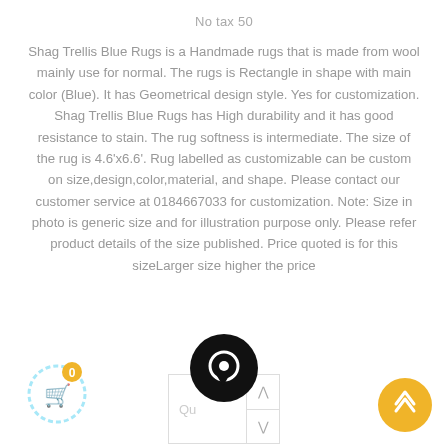No tax 50
Shag Trellis Blue Rugs is a Handmade rugs that is made from wool mainly use for normal. The rugs is Rectangle in shape with main color (Blue). It has Geometrical design style. Yes for customization. Shag Trellis Blue Rugs has High durability and it has good resistance to stain. The rug softness is intermediate. The size of the rug is 4.6'x6.6'. Rug labelled as customizable can be custom on size,design,color,material, and shape. Please contact our customer service at 0184667033 for customization. Note: Size in photo is generic size and for illustration purpose only. Please refer product details of the size published. Price quoted is for this sizeLarger size higher the price
[Figure (other): Shopping cart icon with '0' badge (bottom-left), chat bubble icon (bottom-center), quantity input box with up/down arrows, and yellow scroll-to-top button (bottom-right)]